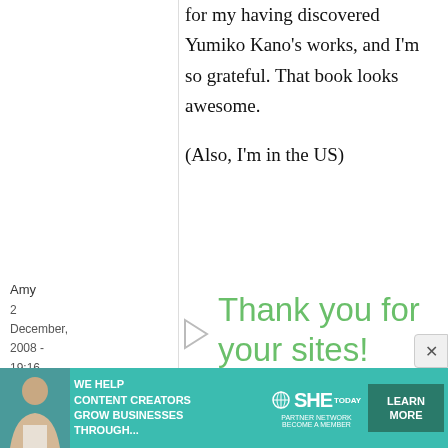for my having discovered Yumiko Kano's works, and I'm so grateful. That book looks awesome.

(Also, I'm in the US)
Amy
2 December, 2008 - 19:16
permalink
Thank you for your sites!
[Figure (infographic): Advertisement banner: teal background with woman photo, text 'WE HELP CONTENT CREATORS GROW BUSINESSES THROUGH...', SHE Partner Network logo, and LEARN MORE button]